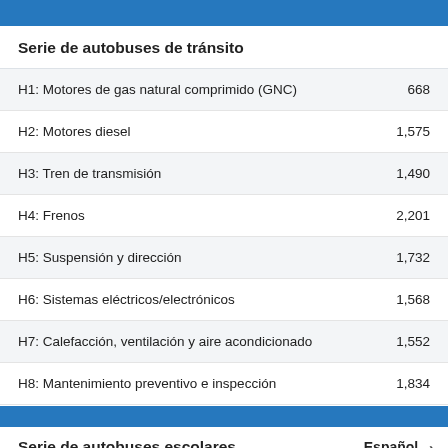Serie de autobuses de tránsito
| Categoría | Número |
| --- | --- |
| H1: Motores de gas natural comprimido (GNC) | 668 |
| H2: Motores diesel | 1,575 |
| H3: Tren de transmisión | 1,490 |
| H4: Frenos | 2,201 |
| H5: Suspensión y dirección | 1,732 |
| H6: Sistemas eléctricos/electrónicos | 1,568 |
| H7: Calefacción, ventilación y aire acondicionado | 1,552 |
| H8: Mantenimiento preventivo e inspección | 1,834 |
Serie de autobuses escolares
Español